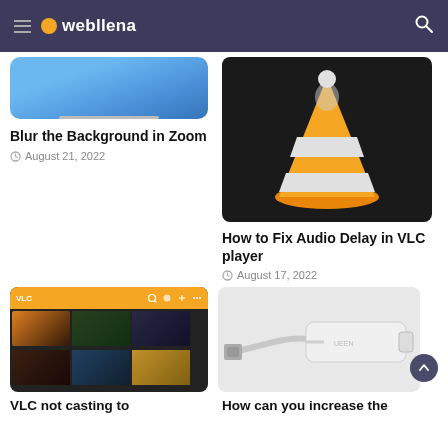webllena
[Figure (screenshot): Partial blue screenshot image at top of left column]
Blur the Background in Zoom
August 21, 2022
[Figure (photo): VLC media player orange cone logo on dark background]
How to Fix Audio Delay in VLC player
August 17, 2022
[Figure (screenshot): VLC app on Android showing video library grid]
VLC not casting to
[Figure (photo): White ethernet to USB adapter/dongle on white background]
How can you increase the